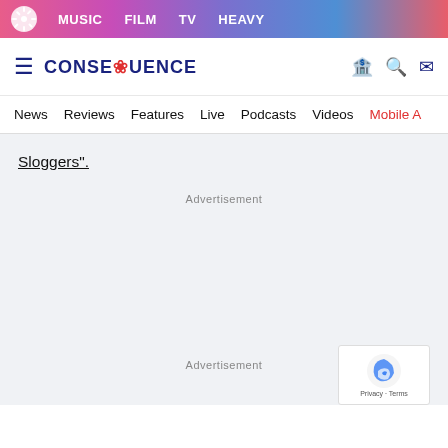MUSIC  FILM  TV  HEAVY
CONSEQUENCE
News  Reviews  Features  Live  Podcasts  Videos  Mobile A
Sloggers”.
Advertisement
Advertisement